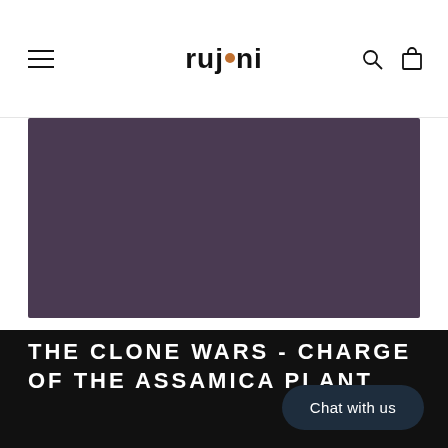rujani
[Figure (photo): Dark purple/mauve colored rectangular hero image area]
THE CLONE WARS - CHARGE OF THE ASSAMICA PLANT
Chat with us